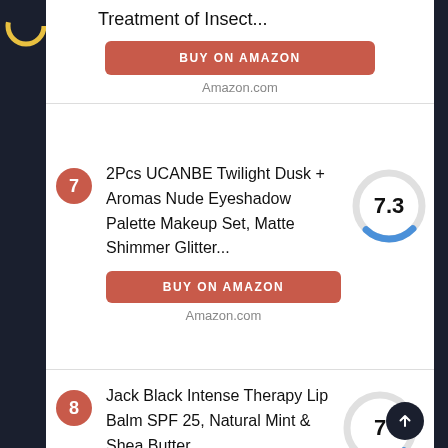Treatment of Insect...
BUY ON AMAZON
Amazon.com
7 — 2Pcs UCANBE Twilight Dusk + Aromas Nude Eyeshadow Palette Makeup Set, Matte Shimmer Glitter... Score: 7.3
BUY ON AMAZON
Amazon.com
8 — Jack Black Intense Therapy Lip Balm SPF 25, Natural Mint & Shea Butter Score: 7